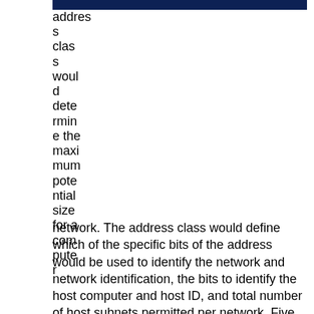[Figure (other): Dark navy blue horizontal bar spanning the top right of the page]
address class would determine the maximum potential size for a computer network. The address class would define which of the specific bits of the address would be used to identify the network and network identification, the bits to identify the host computer and host ID, and total number of host subnets permitted per network. Five total classes of IP addresses were defined, class A through E. Although the